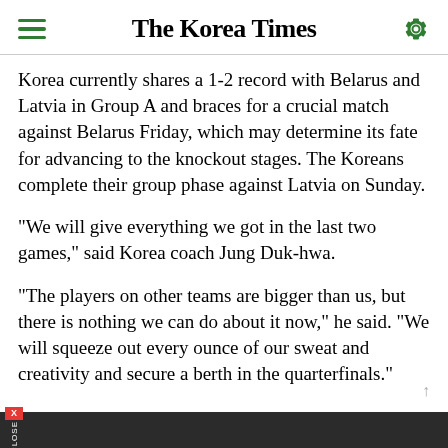The Korea Times
Korea currently shares a 1-2 record with Belarus and Latvia in Group A and braces for a crucial match against Belarus Friday, which may determine its fate for advancing to the knockout stages. The Koreans complete their group phase against Latvia on Sunday.
"We will give everything we got in the last two games," said Korea coach Jung Duk-hwa.
"The players on other teams are bigger than us, but there is nothing we can do about it now," he said. "We will squeeze out every ounce of our sweat and creativity and secure a berth in the quarterfinals."